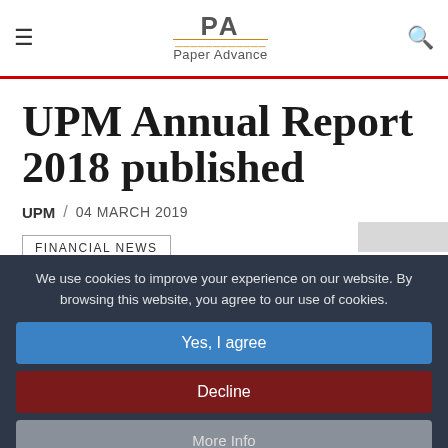PA Paper Advance
UPM Annual Report 2018 published
UPM / 04 MARCH 2019
FINANCIAL NEWS
We use cookies to improve your experience on our website. By browsing this website, you agree to our use of cookies.
Yes, I agree
Decline
More Info